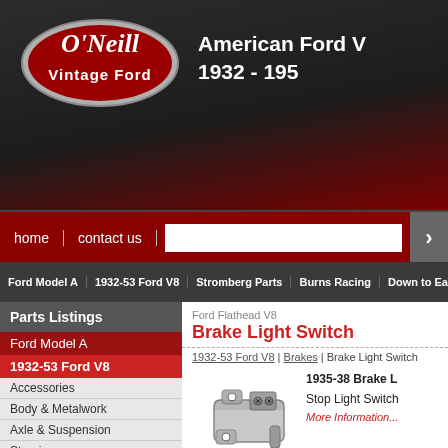[Figure (logo): O'Neill Vintage Ford oval red logo with script text]
American Ford V8
1932 - 195...
home | contact us [search bar]
Ford Model A | 1932-53 Ford V8 | Stromberg Parts | Burns Racing | Down to Eart...
Parts Listings
Ford Model A
1932-53 Ford V8
Accessories
Body & Metalwork
Axle & Suspension
Steering
Pedals
Brakes
Mechanical Brakes 1932-39
Hydraulic Brakes 1939-53
Lincoln Brake
Ford Flathead V8
Brake Light Switch
1932-53 Ford V8 | Brakes | Brake Light Switch
[Figure (illustration): Brake light switch mechanical part illustration]
1935-38 Brake L...
Stop Light Switch...
More Information...